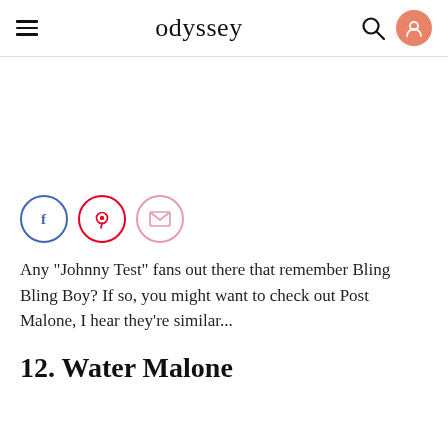odyssey
[Figure (other): Social share buttons: Facebook (blue circle), Pinterest (red circle), Email (pink circle)]
Any "Johnny Test" fans out there that remember Bling Bling Boy? If so, you might want to check out Post Malone, I hear they're similar...
12. Water Malone